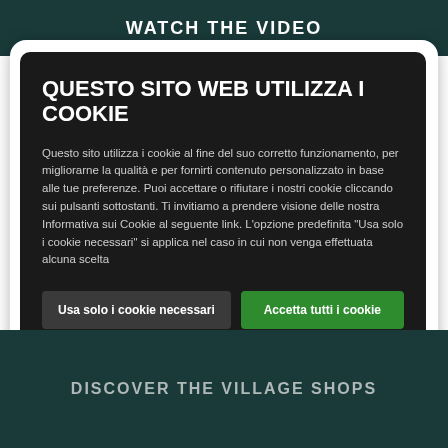WATCH THE VIDEO
QUESTO SITO WEB UTILIZZA I COOKIE
Questo sito utilizza i cookie al fine del suo corretto funzionamento, per migliorarne la qualità e per fornirti contenuto personalizzato in base alle tue preferenze. Puoi accettare o rifiutare i nostri cookie cliccando sui pulsanti sottostanti. Ti invitiamo a prendere visione delle nostra Informativa sui Cookie al seguente link. L'opzione predefinita "Usa solo i cookie necessari" si applica nel caso in cui non venga effettuata alcuna scelta
Usa solo i cookie necessari
Accetta tutti i cookie
Mostra dettagli
DISCOVER THE VILLAGE SHOPS